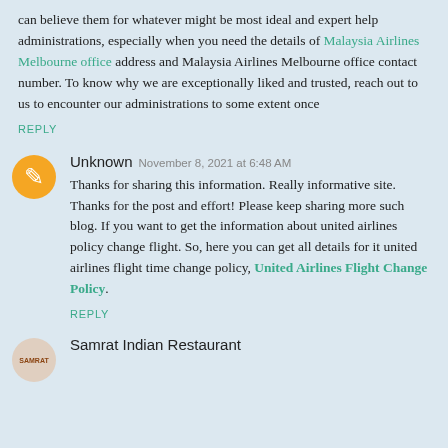can believe them for whatever might be most ideal and expert help administrations, especially when you need the details of Malaysia Airlines Melbourne office address and Malaysia Airlines Melbourne office contact number. To know why we are exceptionally liked and trusted, reach out to us to encounter our administrations to some extent once
REPLY
Unknown  November 8, 2021 at 6:48 AM

Thanks for sharing this information. Really informative site. Thanks for the post and effort! Please keep sharing more such blog. If you want to get the information about united airlines policy change flight. So, here you can get all details for it united airlines flight time change policy, United Airlines Flight Change Policy.

REPLY
Samrat Indian Restaurant